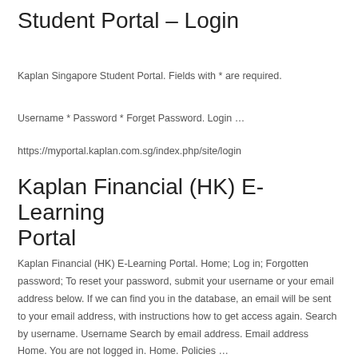Student Portal – Login
Kaplan Singapore Student Portal. Fields with * are required.
Username * Password * Forget Password. Login …
https://myportal.kaplan.com.sg/index.php/site/login
Kaplan Financial (HK) E-Learning Portal
Kaplan Financial (HK) E-Learning Portal. Home; Log in; Forgotten password; To reset your password, submit your username or your email address below. If we can find you in the database, an email will be sent to your email address, with instructions how to get access again. Search by username. Username Search by email address. Email address Home. You are not logged in. Home. Policies …